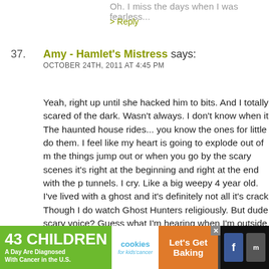Oh. I miss the days when I was fearless...
> Reply
37. Amy - Hamlet's Mistress says: OCTOBER 24TH, 2011 AT 4:45 PM
Yeah, right up until she hacked him to bits. And I totally scared of the dark. Wasn't always. I don't know when it The haunted house rides... you know the ones for little do them. I feel like my heart is going to explode out of m the things jump out or when you go by the scary scenes it's right at the beginning and right at the end with the p tunnels. I cry. Like a big weepy 4 year old. I've lived with a ghost and it's definitely not all it's crack Though I do watch Ghost Hunters religiously. But dude scary voice? Guess what I'm hearing when I'm outside w last outs before bed. Yeah. Oh and there's a show on af called like Paranormal Eyewitness or something like th change the channel immediately after Ghost Hunters a SECOND of it. Scares the bejeezus out of me.
[Figure (infographic): Advertisement banner: '43 CHILDREN A Day Are Diagnosed With Cancer in the U.S.' with cookies for kids' cancer logo and 'Let's Get Baking' call to action on orange background]